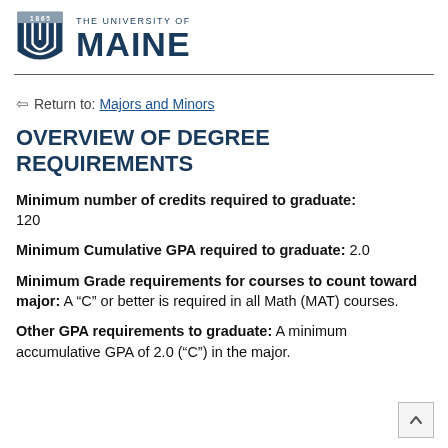1865 THE UNIVERSITY OF MAINE
← Return to: Majors and Minors
OVERVIEW OF DEGREE REQUIREMENTS
Minimum number of credits required to graduate: 120
Minimum Cumulative GPA required to graduate: 2.0
Minimum Grade requirements for courses to count toward major: A "C" or better is required in all Math (MAT) courses.
Other GPA requirements to graduate: A minimum accumulative GPA of 2.0 ("C") in the major.